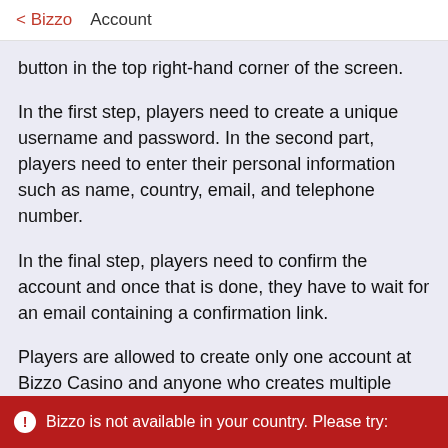< Bizzo    Account
button in the top right-hand corner of the screen.
In the first step, players need to create a unique username and password. In the second part, players need to enter their personal information such as name, country, email, and telephone number.
In the final step, players need to confirm the account and once that is done, they have to wait for an email containing a confirmation link.
Players are allowed to create only one account at Bizzo Casino and anyone who creates multiple accounts to take advantage of promotions and offers is risking having all their accounts suspended.
Bizzo is not available in your country. Please try: